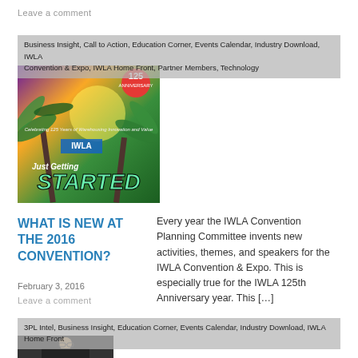Leave a comment
Business Insight, Call to Action, Education Corner, Events Calendar, Industry Download, IWLA Convention & Expo, IWLA Home Front, Partner Members, Technology
[Figure (photo): IWLA 125th Anniversary promotional image with text 'Just Getting STARTED' and palm trees in tropical background]
WHAT IS NEW AT THE 2016 CONVENTION?
February 3, 2016
Leave a comment
Every year the IWLA Convention Planning Committee invents new activities, themes, and speakers for the IWLA Convention & Expo. This is especially true for the IWLA 125th Anniversary year. This […]
3PL Intel, Business Insight, Education Corner, Events Calendar, Industry Download, IWLA Home Front
[Figure (photo): Portrait photo of an older man with glasses, beard, wearing a dark jacket]